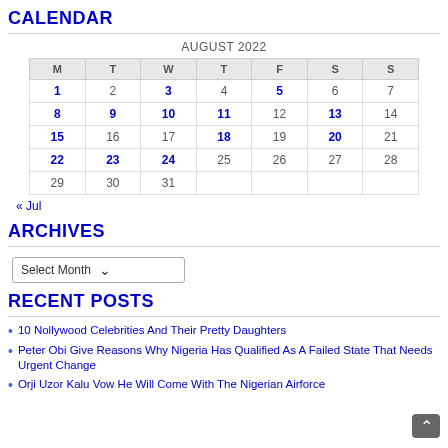CALENDAR
| M | T | W | T | F | S | S |
| --- | --- | --- | --- | --- | --- | --- |
| 1 | 2 | 3 | 4 | 5 | 6 | 7 |
| 8 | 9 | 10 | 11 | 12 | 13 | 14 |
| 15 | 16 | 17 | 18 | 19 | 20 | 21 |
| 22 | 23 | 24 | 25 | 26 | 27 | 28 |
| 29 | 30 | 31 |  |  |  |  |
« Jul
ARCHIVES
Select Month
RECENT POSTS
10 Nollywood Celebrities And Their Pretty Daughters
Peter Obi Give Reasons Why Nigeria Has Qualified As A Failed State That Needs Urgent Change
Orji Uzor Kalu Vow He Will Come With The Nigerian Airforce